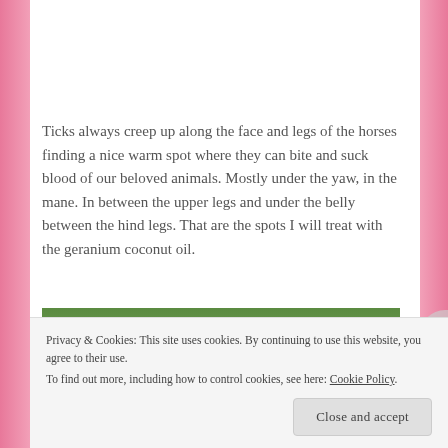Ticks always creep up along the face and legs of the horses finding a nice warm spot where they can bite and suck blood of our beloved animals. Mostly under the yaw, in the mane. In between the upper legs and under the belly between the hind legs. That are the spots I will treat with the geranium coconut oil.
[Figure (photo): Outdoor grass background with a white round container visible at the bottom center, showing green grass and a leaf]
Privacy & Cookies: This site uses cookies. By continuing to use this website, you agree to their use.
To find out more, including how to control cookies, see here: Cookie Policy